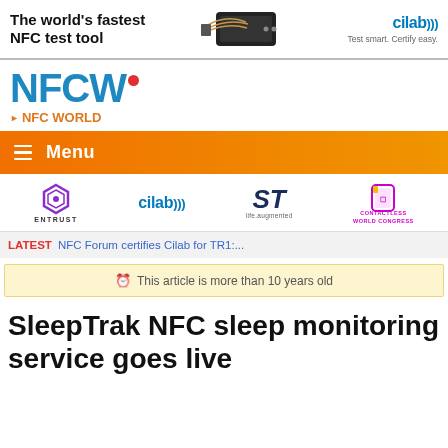[Figure (infographic): Ad banner: 'The world's fastest NFC test tool' with device image, cilab logo, and tagline 'Test smart. Certify easy.']
[Figure (logo): NFCW logo with blue letters and red dot, subtitle NFC WORLD in orange]
Menu
[Figure (logo): Sponsor logos row: Entrust, cilab, ST life.augmented, Contactless World Congress]
LATEST NFC Forum certifies Cilab for TR1:...
This article is more than 10 years old
SleepTrak NFC sleep monitoring service goes live